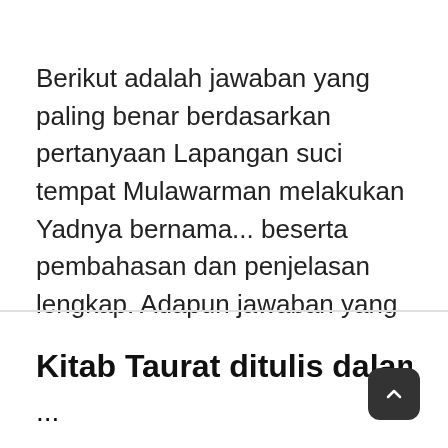Berikut adalah jawaban yang paling benar berdasarkan pertanyaan Lapangan suci tempat Mulawarman melakukan Yadnya bernama... beserta pembahasan dan penjelasan lengkap. Adapun jawaban yang tepat adalah B. Waprakeswara.
Kitab Taurat ditulis dalam baha...
...